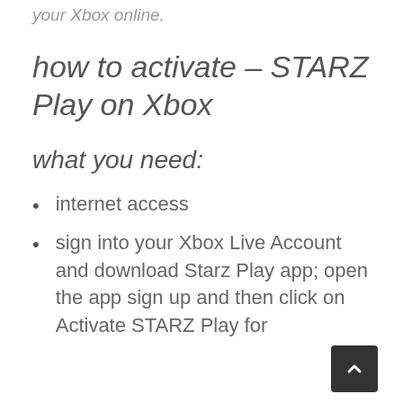your Xbox online.
how to activate – STARZ Play on Xbox
what you need:
internet access
sign into your Xbox Live Account and download Starz Play app; open the app sign up and then click on Activate STARZ Play for